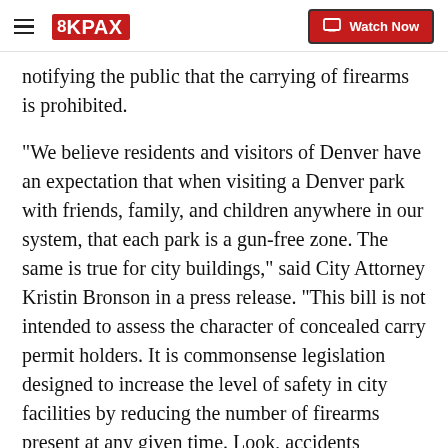8KPAX — Watch Now
notifying the public that the carrying of firearms is prohibited.
“We believe residents and visitors of Denver have an expectation that when visiting a Denver park with friends, family, and children anywhere in our system, that each park is a gun-free zone. The same is true for city buildings,” said City Attorney Kristin Bronson in a press release. “This bill is not intended to assess the character of concealed carry permit holders. It is commonsense legislation designed to increase the level of safety in city facilities by reducing the number of firearms present at any given time. Look, accidents happen, and accidents involving guns can have disastrous and tragic results.”